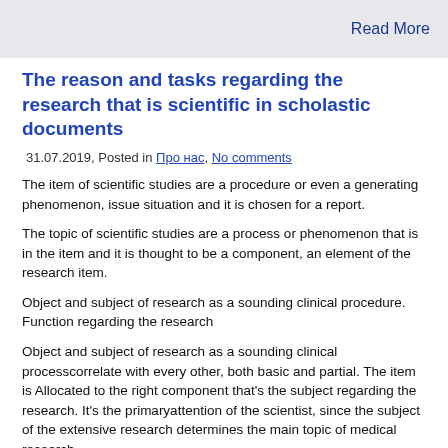Read More
The reason and tasks regarding the research that is scientific in scholastic documents
31.07.2019, Posted in Про нас, No comments
The item of scientific studies are a procedure or even a generating phenomenon, issue situation and it is chosen for a report.
The topic of scientific studies are a process or phenomenon that is in the item and it is thought to be a component, an element of the research item.
Object and subject of research as a sounding clinical procedure. Function regarding the research
Object and subject of research as a sounding clinical processcorrelate with every other, both basic and partial. The item is Allocated to the right component that's the subject regarding the research. It's the primaryattention of the scientist, since the subject of the extensive research determines the main topic of medical research.
One of many crucial imaginative phases of re solving the nagging issue is the definition of the reason and goals of medical research.